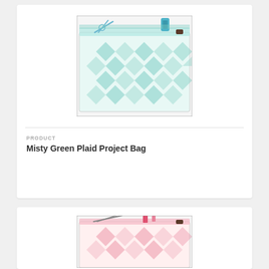[Figure (photo): Misty green plaid fabric project bag with scissors and spool of thread visible at the top opening, displayed flat with a zipper closure]
PRODUCT
Misty Green Plaid Project Bag
[Figure (photo): Pink plaid fabric project bag with scissors and other sewing notions visible at the top opening, partially shown]